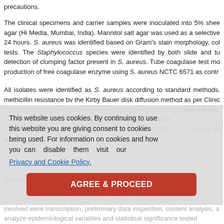precautions.
The clinical specimens and carrier samples were inoculated into 5% sheep blood agar (Hi Media, Mumbai, India). Mannitol salt agar was used as a selective medium for 24 hours. S. aureus was identified based on Gram's stain morphology, colony character tests. The Staphylococcus species were identified by both slide and tube coagulase, detection of clumping factor present in S. aureus. Tube coagulase test monitors the production of free coagulase enzyme using S. aureus NCTC 6571 as control.
All isolates were identified as S. aureus according to standard methods. methicillin resistance by the Kirby Bauer disk diffusion method as per Clinical One microgram Oxacillin disk was used on Muller Hinton agar with 4% Na. The isolates... by the Kirby (10 mcg), (1mcg), calinilicin, vancomycin (30mcg), candosacin (5 mc) disseminated in health education sessions to complement the findings of str.
Statistical analysis
The data collected were thoroughly screened and entered into MS-Excel s involved were transcription, preliminary data inspection, content analysis, a analyze epidemiological variables and statistical significance tested